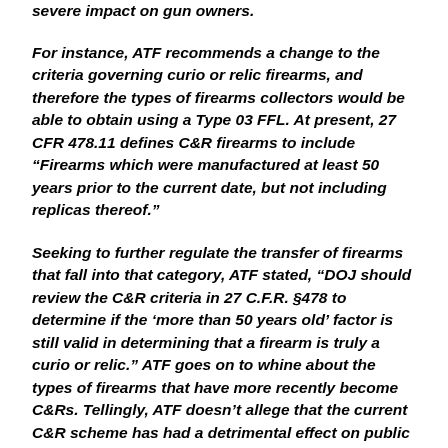severe impact on gun owners.
For instance, ATF recommends a change to the criteria governing curio or relic firearms, and therefore the types of firearms collectors would be able to obtain using a Type 03 FFL. At present, 27 CFR 478.11 defines C&R firearms to include “Firearms which were manufactured at least 50 years prior to the current date, but not including replicas thereof.”
Seeking to further regulate the transfer of firearms that fall into that category, ATF stated, “DOJ should review the C&R criteria in 27 C.F.R. §478 to determine if the ‘more than 50 years old’ factor is still valid in determining that a firearm is truly a curio or relic.” ATF goes on to whine about the types of firearms that have more recently become C&Rs. Tellingly, ATF doesn’t allege that the current C&R scheme has had a detrimental effect on public safety.